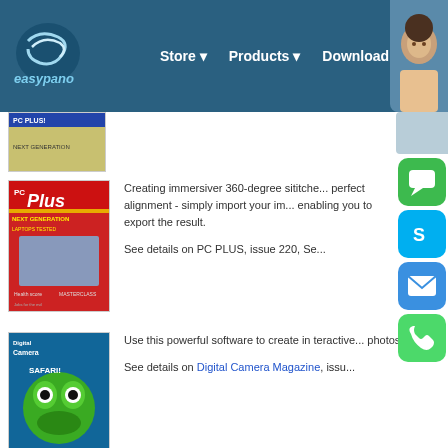Easypano - Store | Products | Downloads (navigation bar)
[Figure (screenshot): Easypano logo with tagline 'the virtual tour way']
[Figure (photo): PC Plus magazine cover issue 220]
Creating immersiver 360-degree sititche... perfect alignment - simply import your im... enabling you to export the result.
See details on PC PLUS, issue 220, Se...
[Figure (photo): Digital Camera magazine cover - Safari issue with frog]
Use this powerful software to create in teractive... photos
See details on Digital Camera Magazine, issu...
[Figure (photo): DIGIT magazine cover]
Panoweaver 4.0 adds more functionality to Pa... wider range of equipment, including almost...